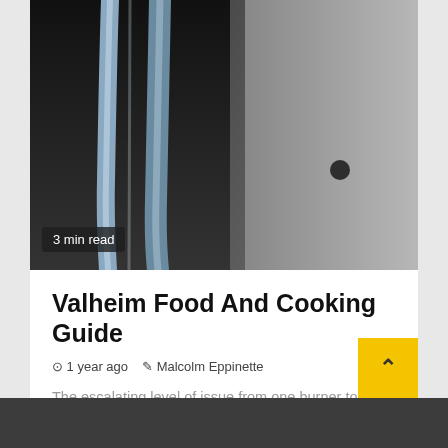[Figure (photo): Close-up photo of shiny metallic cutlery (forks/spoons) against a dark background with a white/silver surface visible on the right side.]
3 min read
Valheim Food And Cooking Guide
⊙ 1 year ago  ✎ Malcolm Eppinette
The escalating level of issue from one burner to 6 burners would make this sport interesting to all ages. Vijay...